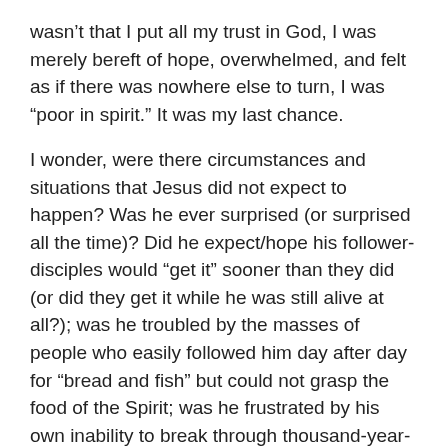wasn't that I put all my trust in God, I was merely bereft of hope, overwhelmed, and felt as if there was nowhere else to turn, I was “poor in spirit.” It was my last chance.
I wonder, were there circumstances and situations that Jesus did not expect to happen? Was he ever surprised (or surprised all the time)? Did he expect/hope his follower-disciples would “get it” sooner than they did (or did they get it while he was still alive at all?); was he troubled by the masses of people who easily followed him day after day for “bread and fish” but could not grasp the food of the Spirit; was he frustrated by his own inability to break through thousand-year-old traditions and beliefs? Did he cry out to God the day he called himself the “bread of life” and taught them about eating his flesh and drinking his blood–so many deserted him that day. I can imagine